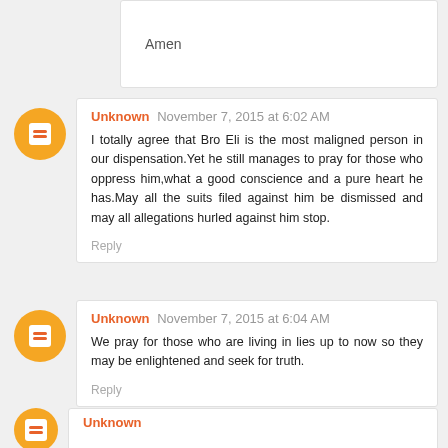Amen
Unknown  November 7, 2015 at 6:02 AM
I totally agree that Bro Eli is the most maligned person in our dispensation.Yet he still manages to pray for those who oppress him,what a good conscience and a pure heart he has.May all the suits filed against him be dismissed and may all allegations hurled against him stop.
Reply
Unknown  November 7, 2015 at 6:04 AM
We pray for those who are living in lies up to now so they may be enlightened and seek for truth.
Reply
Unknown